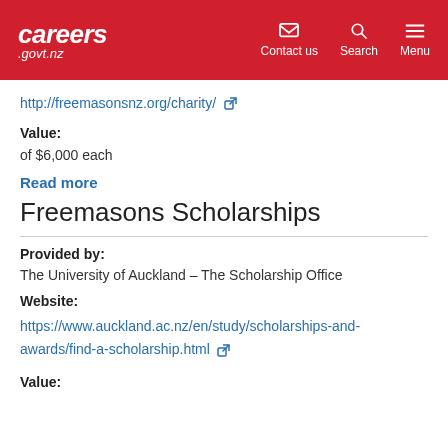careers .govt.nz | Contact us | Search | Menu
http://freemasonsnz.org/charity/
Value:
of $6,000 each
Read more
Freemasons Scholarships
Provided by:
The University of Auckland – The Scholarship Office
Website:
https://www.auckland.ac.nz/en/study/scholarships-and-awards/find-a-scholarship.html
Value: